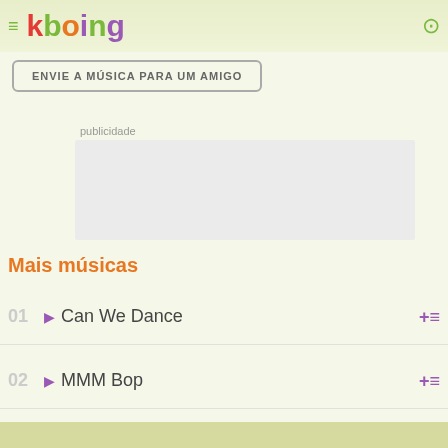kboing
ENVIE A MÚSICA PARA UM AMIGO
publicidade
[Figure (other): Advertisement placeholder box (grey rectangle)]
Mais músicas
01 ▶ Can We Dance
02 ▶ MMM Bop